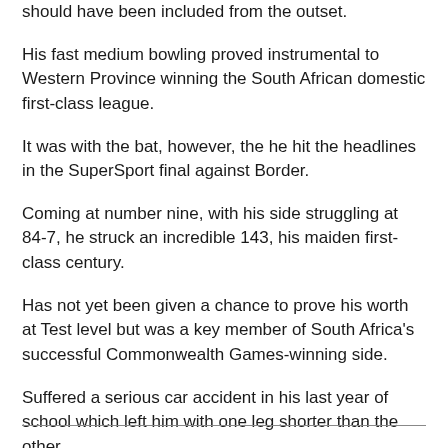should have been included from the outset.
His fast medium bowling proved instrumental to Western Province winning the South African domestic first-class league.
It was with the bat, however, the he hit the headlines in the SuperSport final against Border.
Coming at number nine, with his side struggling at 84-7, he struck an incredible 143, his maiden first-class century.
Has not yet been given a chance to prove his worth at Test level but was a key member of South Africa's successful Commonwealth Games-winning side.
Suffered a serious car accident in his last year of school which left him with one leg shorter than the other.